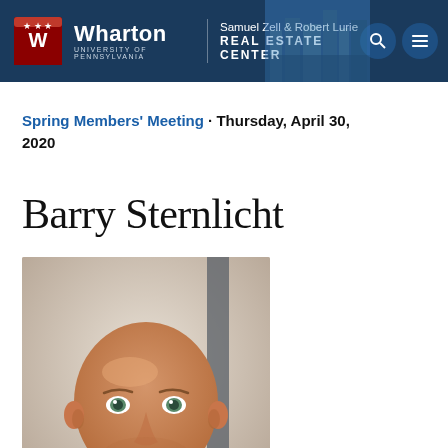Wharton University of Pennsylvania — Samuel Zell & Robert Lurie Real Estate Center
Spring Members' Meeting · Thursday, April 30, 2020
Barry Sternlicht
[Figure (photo): Headshot of Barry Sternlicht, a bald smiling man in a suit, professional portrait photo]